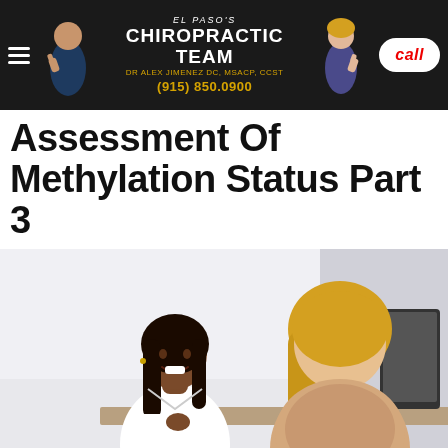El Paso's Chiropractic Team | Dr Alex Jimenez DC, MSACP, CCST | (915) 850.0900 | Call
Assessment Of Methylation Status Part 3
[Figure (photo): A female doctor in a white lab coat smiling and consulting with a blonde female patient across a desk in a medical office setting.]